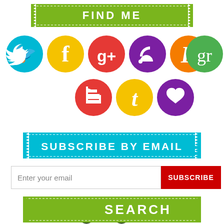FIND ME
[Figure (infographic): Row of colorful social media icon circles: Twitter (cyan), Facebook (gold), Google+ (red), RSS (purple), Etsy (orange), Goodreads (green), Xing (cyan), Instagram (orange), Pinterest (green), Feedly (red), Tumblr (yellow), Bloglovin (purple heart)]
SUBSCRIBE BY EMAIL
Enter your email
SUBSCRIBE
[Figure (illustration): Bicycle illustration]
SEARCH